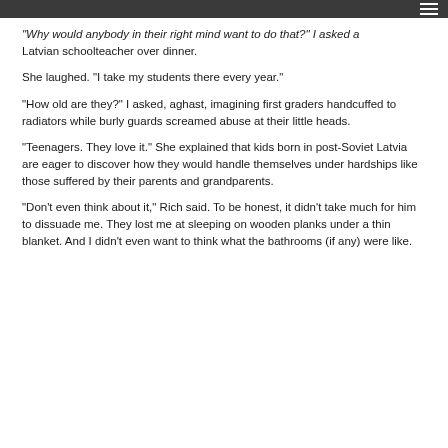“Why would anybody in their right mind want to do that?” I asked a Latvian schoolteacher over dinner.
She laughed. “I take my students there every year.”
“How old are they?” I asked, aghast, imagining first graders handcuffed to radiators while burly guards screamed abuse at their little heads.
“Teenagers. They love it.” She explained that kids born in post-Soviet Latvia are eager to discover how they would handle themselves under hardships like those suffered by their parents and grandparents.
“Don’t even think about it,” Rich said. To be honest, it didn’t take much for him to dissuade me. They lost me at sleeping on wooden planks under a thin blanket. And I didn’t even want to think what the bathrooms (if any) were like.